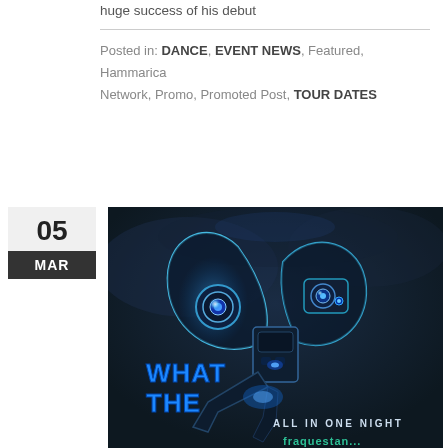huge success of his debut
Posted in: DANCE, EVENT NEWS, Featured, Hammarica Network, Promo, Promoted Post, TOUR DATES
05 MAR
[Figure (illustration): Event promotional poster with a robotic/futuristic butterfly creature with blue neon lights, text reading WHAT THE, ALL IN ONE NIGHT, on dark blue background]